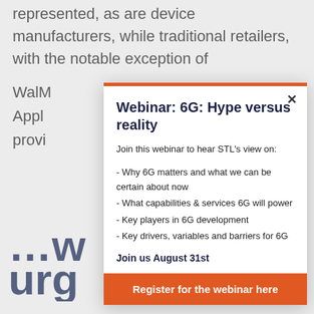represented, as are device manufacturers, while traditional retailers, with the notable exception of WalM[art are not well] Appl[e...] provi[des...]
...w
urg
Beyo[nd...] DECE[MBER...] offer[s...] Appl[e...] cont[ent...]
Webinar: 6G: Hype versus reality
Join this webinar to hear STL's view on:
- Why 6G matters and what we can be certain about now
- What capabilities & services 6G will power
- Key players in 6G development
- Key drivers, variables and barriers for 6G
Join us August 31st
Register for the webinar here